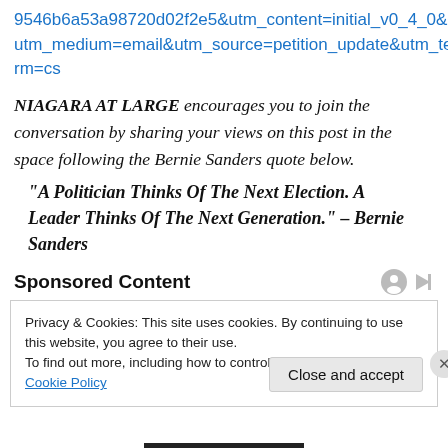9546b6a53a98720d02f2e5&utm_content=initial_v0_4_0&utm_medium=email&utm_source=petition_update&utm_term=cs
NIAGARA AT LARGE encourages you to join the conversation by sharing your views on this post in the space following the Bernie Sanders quote below.
“A Politician Thinks Of The Next Election. A Leader Thinks Of The Next Generation.” – Bernie Sanders
Sponsored Content
Privacy & Cookies: This site uses cookies. By continuing to use this website, you agree to their use.
To find out more, including how to control cookies, see here: Cookie Policy